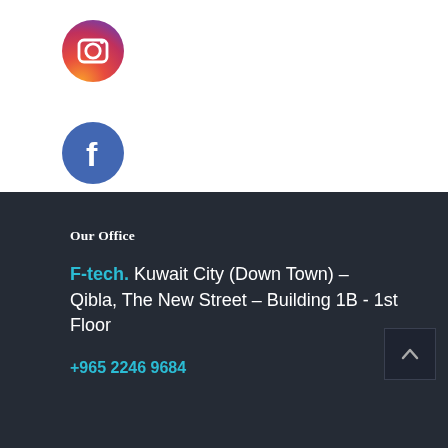[Figure (logo): Instagram icon - circular red/orange gradient background with white camera icon]
[Figure (logo): Facebook icon - circular blue background with white lowercase f]
Our Office
F-tech. Kuwait City (Down Town) – Qibla, The New Street – Building 1B - 1st Floor
+965 2246 9684